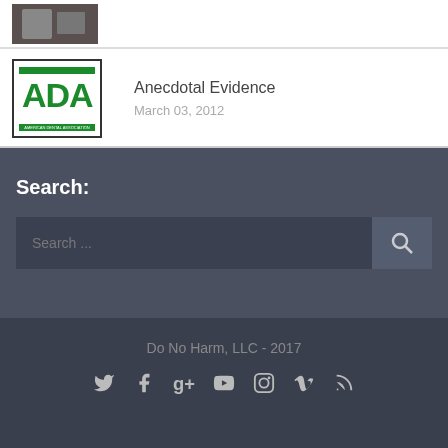[Figure (screenshot): Top card with dark photo thumbnail on left]
[Figure (logo): ADA American Dental Association logo in green]
Anecdotal Evidence
March 03, 2012
Search:
Search ...
Do No Harm, LLC - 2017
[Figure (infographic): Social media icons: Twitter, Facebook, Google+, YouTube, Instagram, Vimeo, RSS]